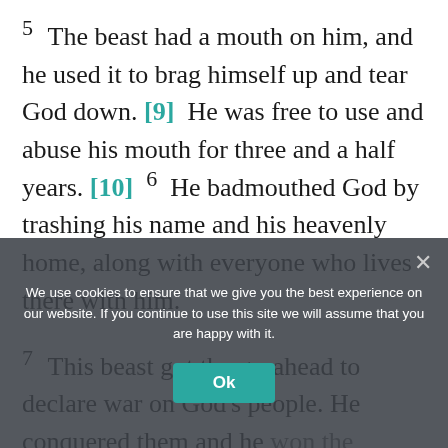5 The beast had a mouth on him, and he used it to brag himself up and tear God down. [9] He was free to use and abuse his mouth for three and a half years. [10] 6 He badmouthed God by trashing his name and his heavenly home, along with everyone who lives there with him.
7 This beast got the go-ahead to declare war on God's people. He conquered them and he won the world. He was given full authority [11] to rule over every nation, race, and ethnic group — people everywhere, no matter what language they spoke. 8 People